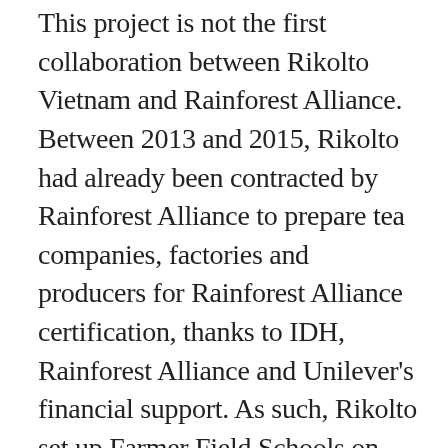This project is not the first collaboration between Rikolto Vietnam and Rainforest Alliance. Between 2013 and 2015, Rikolto had already been contracted by Rainforest Alliance to prepare tea companies, factories and producers for Rainforest Alliance certification, thanks to IDH, Rainforest Alliance and Unilever's financial support. As such, Rikolto set up Farmer Field Schools on Good Agricultural Practices, trained 395 lead-farmers on the Sustainable Agriculture Network's (SAN) guidelines, and helped 17 factories implement the Internal Management System (IMS) in preparation for their certification.